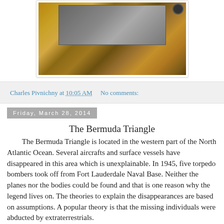[Figure (photo): Photograph of a wooden cabinet or console with electronic equipment on top, including knobs and controls. The cabinet appears to be boat-related navigation or radio equipment.]
Charles Pivnichny at 10:05 AM    No comments:
Friday, March 28, 2014
The Bermuda Triangle
The Bermuda Triangle is located in the western part of the North Atlantic Ocean. Several aircrafts and surface vessels have disappeared in this area which is unexplainable. In 1945, five torpedo bombers took off from Fort Lauderdale Naval Base. Neither the planes nor the bodies could be found and that is one reason why the legend lives on. The theories to explain the disappearances are based on assumptions. A popular theory is that the missing individuals were abducted by extraterrestrials.